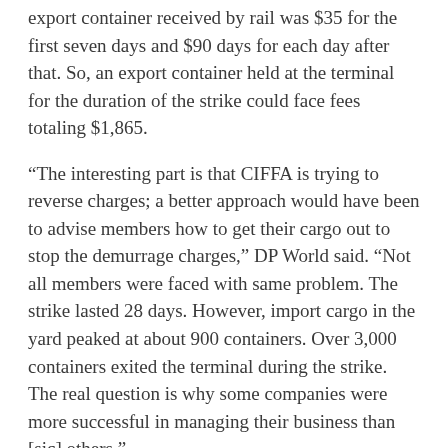export container received by rail was $35 for the first seven days and $90 days for each day after that. So, an export container held at the terminal for the duration of the strike could face fees totaling $1,865.
“The interesting part is that CIFFA is trying to reverse charges; a better approach would have been to advise members how to get their cargo out to stop the demurrage charges,” DP World said. “Not all members were faced with same problem. The strike lasted 28 days. However, import cargo in the yard peaked at about 900 containers. Over 3,000 containers exited the terminal during the strike. The real question is why some companies were more successful in managing their business than [sic] others.”
Fees never intended as punishment
DP World said it was unfortunate that The Brick,